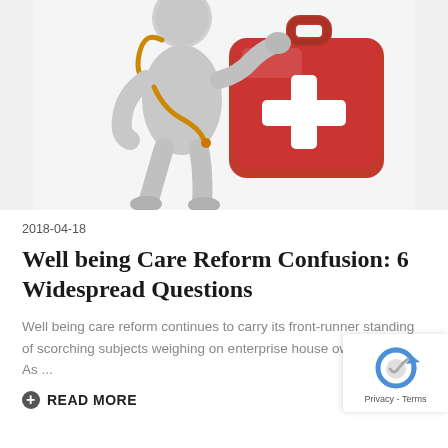[Figure (illustration): 3D illustration of a gray cartoon doctor figure holding a stethoscope next to a large red first aid kit/briefcase with a white cross symbol]
2018-04-18
Well being Care Reform Confusion: 6 Widespread Questions
Well being care reform continues to carry its front-runner standing of scorching subjects weighing on enterprise house owners' minds. As ...
READ MORE